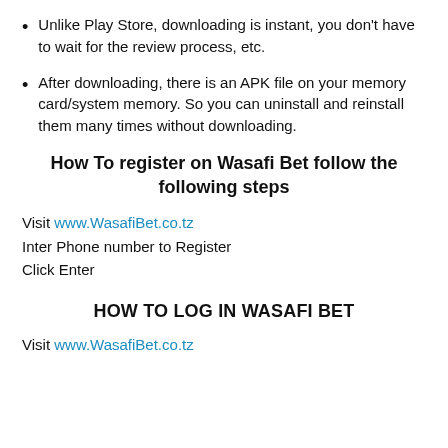Unlike Play Store, downloading is instant, you don't have to wait for the review process, etc.
After downloading, there is an APK file on your memory card/system memory. So you can uninstall and reinstall them many times without downloading.
How To register on Wasafi Bet follow the following steps
Visit www.WasafiBet.co.tz
Inter Phone number to Register
Click Enter
HOW TO LOG IN WASAFI BET
Visit www.WasafiBet.co.tz